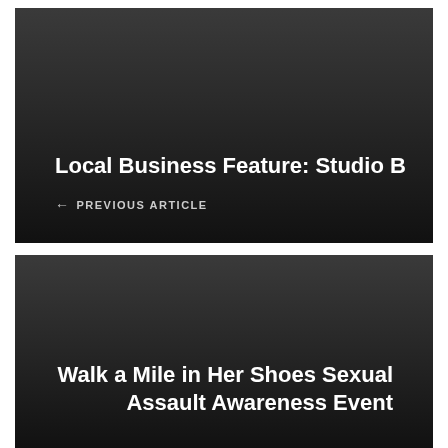[Figure (other): Dark gradient navigation card with title 'Local Business Feature: Studio B' and '← PREVIOUS ARTICLE' link]
Local Business Feature: Studio B
← PREVIOUS ARTICLE
[Figure (other): Dark gradient navigation card with title 'Walk a Mile in Her Shoes Sexual Assault Awareness Event']
Walk a Mile in Her Shoes Sexual Assault Awareness Event